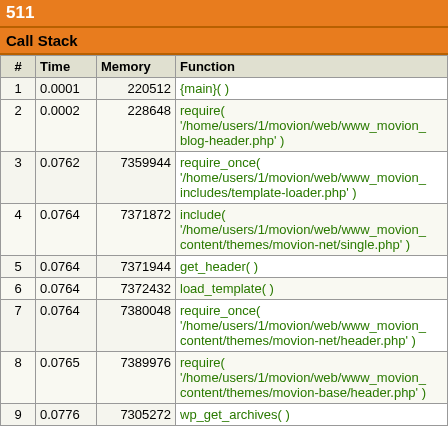511
Call Stack
| # | Time | Memory | Function |
| --- | --- | --- | --- |
| 1 | 0.0001 | 220512 | {main}( ) |
| 2 | 0.0002 | 228648 | require( '/home/users/1/movion/web/www_movion_ blog-header.php' ) |
| 3 | 0.0762 | 7359944 | require_once( '/home/users/1/movion/web/www_movion_ includes/template-loader.php' ) |
| 4 | 0.0764 | 7371872 | include( '/home/users/1/movion/web/www_movion_ content/themes/movion-net/single.php' ) |
| 5 | 0.0764 | 7371944 | get_header( ) |
| 6 | 0.0764 | 7372432 | load_template( ) |
| 7 | 0.0764 | 7380048 | require_once( '/home/users/1/movion/web/www_movion_ content/themes/movion-net/header.php' ) |
| 8 | 0.0765 | 7389976 | require( '/home/users/1/movion/web/www_movion_ content/themes/movion-base/header.php' ) |
| 9 | 0.0776 | 7305272 | wp_get_archives( ) |